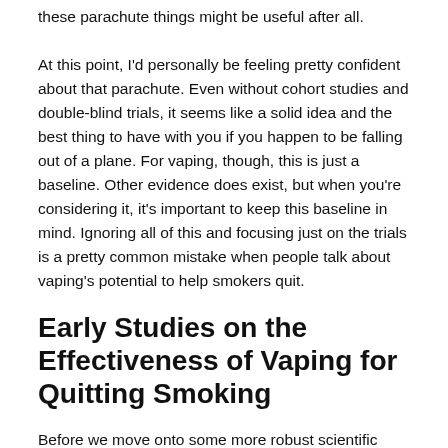these parachute things might be useful after all. At this point, I'd personally be feeling pretty confident about that parachute. Even without cohort studies and double-blind trials, it seems like a solid idea and the best thing to have with you if you happen to be falling out of a plane. For vaping, though, this is just a baseline. Other evidence does exist, but when you're considering it, it's important to keep this baseline in mind. Ignoring all of this and focusing just on the trials is a pretty common mistake when people talk about vaping's potential to help smokers quit.
Early Studies on the Effectiveness of Vaping for Quitting Smoking
Before we move onto some more robust scientific evidence of the effectiveness of vaping, it's worth taking a minute to